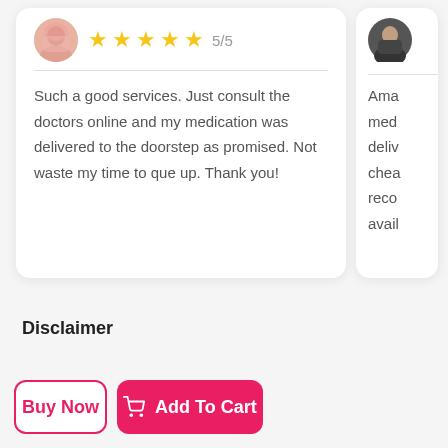Such a good services. Just consult the doctors online and my medication was delivered to the doorstep as promised. Not waste my time to que up. Thank you!
Ama med deli chea reco avai
Disclaimer
Buy Now
Add To Cart